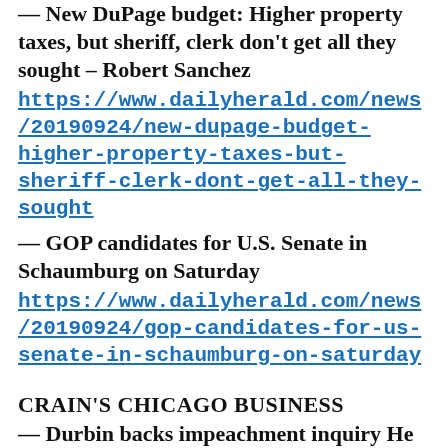— New DuPage budget: Higher property taxes, but sheriff, clerk don't get all they sought – Robert Sanchez
https://www.dailyherald.com/news/20190924/new-dupage-budget-higher-property-taxes-but-sheriff-clerk-dont-get-all-they-sought
— GOP candidates for U.S. Senate in Schaumburg on Saturday
https://www.dailyherald.com/news/20190924/gop-candidates-for-us-senate-in-schaumburg-on-saturday
CRAIN'S CHICAGO BUSINESS
— Durbin backs impeachment inquiry He becomes the highest ranking Senate Democrat to back the start of proceedings. Meanwhile, a